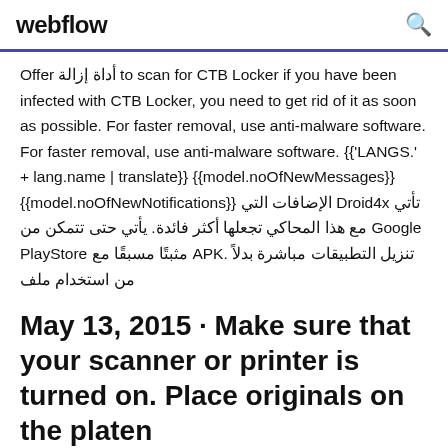webflow
Offer أداة إزالة to scan for CTB Locker if you have been infected with CTB Locker, you need to get rid of it as soon as possible. For faster removal, use anti-malware software. For faster removal, use anti-malware software. {{'LANGS.' + lang.name | translate}} {{model.noOfNewMessages}} {{model.noOfNewNotifications}} الإضافات التي Droid4x تأتي مع هذا المحاكي تجعلها أكثر فائدة. يأتي حتى تتمكن من Google PlayStore مثبتًا مسبقًا مع APK. تنزيل التطبيقات مباشرة بدلاً من استخدام ملف
May 13, 2015 · Make sure that your scanner or printer is turned on. Place originals on the platen